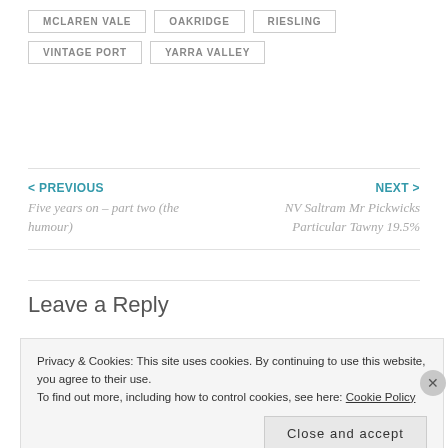MCLAREN VALE
OAKRIDGE
RIESLING
VINTAGE PORT
YARRA VALLEY
< PREVIOUS
Five years on – part two (the humour)
NEXT >
NV Saltram Mr Pickwicks Particular Tawny 19.5%
Leave a Reply
Privacy & Cookies: This site uses cookies. By continuing to use this website, you agree to their use.
To find out more, including how to control cookies, see here: Cookie Policy
Close and accept